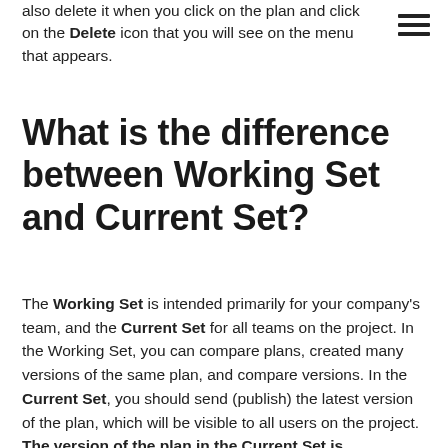also delete it when you click on the plan and click on the Delete icon that you will see on the menu that appears.
What is the difference between Working Set and Current Set?
The Working Set is intended primarily for your company's team, and the Current Set for all teams on the project. In the Working Set, you can compare plans, created many versions of the same plan, and compare versions. In the Current Set, you should send (publish) the latest version of the plan, which will be visible to all users on the project. The version of the plan in the Current Set is considered to be the final version currently in use.